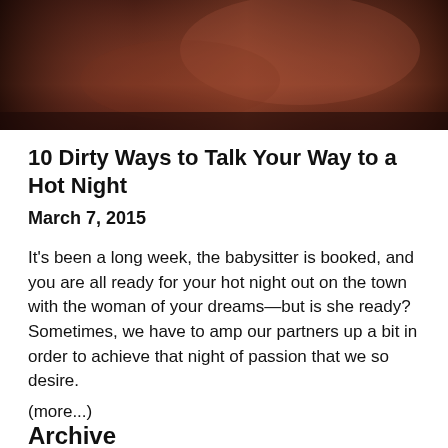[Figure (photo): Dark intimate photo of a couple in bed, used as article banner image]
10 Dirty Ways to Talk Your Way to a Hot Night
March 7, 2015
It's been a long week, the babysitter is booked, and you are all ready for your hot night out on the town with the woman of your dreams—but is she ready? Sometimes, we have to amp our partners up a bit in order to achieve that night of passion that we so desire.
(more...)
Archive